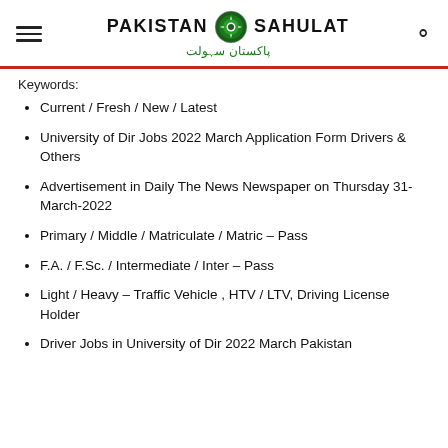Pakistan Sahulat
Keywords:
Current / Fresh / New / Latest
University of Dir Jobs 2022 March Application Form Drivers & Others
Advertisement in Daily The News Newspaper on Thursday 31-March-2022
Primary / Middle / Matriculate / Matric – Pass
F.A. / F.Sc. / Intermediate / Inter – Pass
Light / Heavy – Traffic Vehicle , HTV / LTV, Driving License Holder
Driver Jobs in University of Dir 2022 March Pakistan